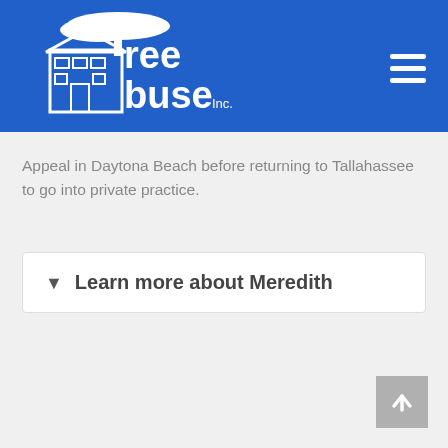[Figure (logo): TreeHouse Inc. logo — white outline illustration of a house with a tree, with stylized text 'Tree House Inc.' in white on blue background]
Appeal in Daytona Beach before returning to Tallahassee to go into private practice.
▾  Learn more about Meredith